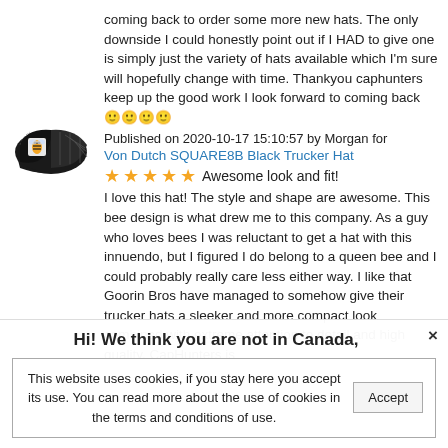coming back to order some more new hats. The only downside I could honestly point out if I HAD to give one is simply just the variety of hats available which I'm sure will hopefully change with time. Thankyou caphunters keep up the good work I look forward to coming back 🙂🙂🙂🙂
Published on 2020-10-17 15:10:57 by Morgan for
Von Dutch SQUARE8B Black Trucker Hat
[Figure (photo): Black trucker hat with bee design patch]
★★★★★  Awesome look and fit!
I love this hat! The style and shape are awesome. This bee design is what drew me to this company. As a guy who loves bees I was reluctant to get a hat with this innuendo, but I figured I do belong to a queen bee and I could probably really care less either way. I like that Goorin Bros have managed to somehow give their trucker hats a sleeker and more compact look combined with extreme attention to detail and high quality. CapHunters is
× Hi! We think you are not in Canada,
This website uses cookies, if you stay here you accept its use. You can read more about the use of cookies in the terms and conditions of use.